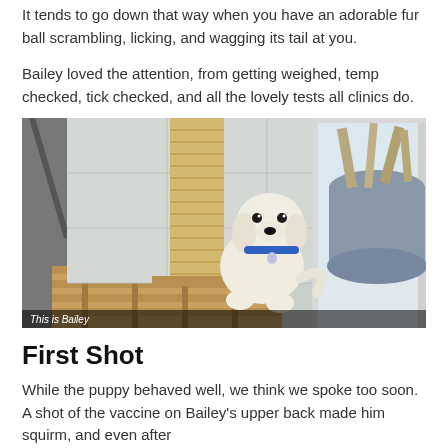It tends to go down that way when you have an adorable fur ball scrambling, licking, and wagging its tail at you.
Bailey loved the attention, from getting weighed, temp checked, tick checked, and all the lovely tests all clinics do.
[Figure (photo): A white golden retriever puppy wearing a blue collar sitting on a wooden pallet platform next to a tall sisal cat scratching post, with a blue pot and window in the background. Caption overlay reads 'This is Bailey'.]
First Shot
While the puppy behaved well, we think we spoke too soon. A shot of the vaccine on Bailey's upper back made him squirm, and even after